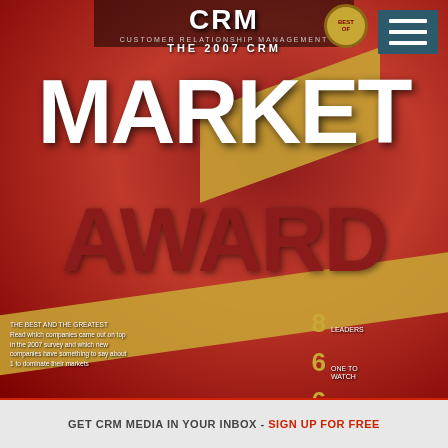[Figure (photo): CRM magazine cover: The 2007 CRM Market Award. Red and gold starburst design with bold white MARKET and dark red AWARD text. Stats listed: 8 companies, 6 (category), 6 rising stars, 3 elite, +1.]
GET CRM MEDIA IN YOUR INBOX - SIGN UP FOR FREE